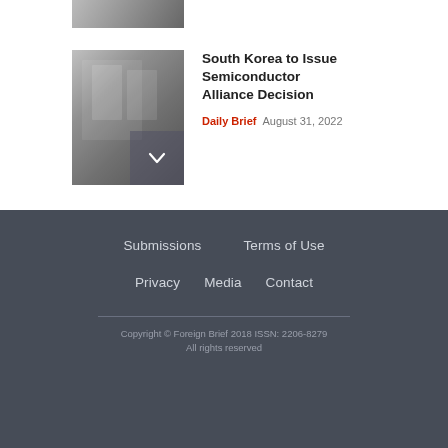[Figure (photo): Partial view of a top image stub at the very top of the page]
[Figure (photo): Semiconductor cleanroom with workers in protective suits]
South Korea to Issue Semiconductor Alliance Decision
Daily Brief  August 31, 2022
Submissions   Terms of Use
Privacy   Media   Contact
Copyright © Foreign Brief 2018 ISSN: 2206-8279
All rights reserved